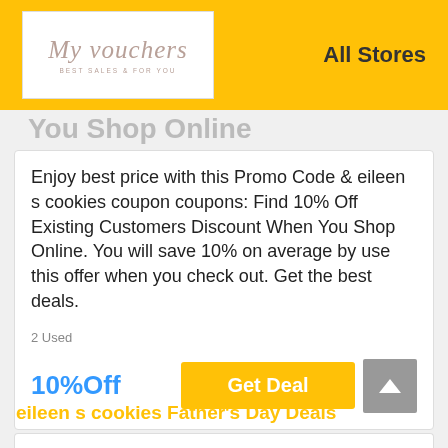[Figure (logo): My Vouchers logo with script text and tagline 'Best Sales & For You']
All Stores
You Shop Online
Enjoy best price with this Promo Code & eileen s cookies coupon coupons: Find 10% Off Existing Customers Discount When You Shop Online. You will save 10% on average by use this offer when you check out. Get the best deals.
2 Used
10%Off
Get Deal
eileen s cookies Father's Day Deals